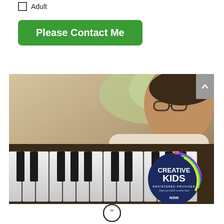Adult
Please Contact Me
[Figure (photo): Child with glasses playing piano keys, with a Creative Kids Registered Provider badge overlaid in the bottom right corner of the image.]
[Figure (other): Quotation mark icon at bottom center of page.]